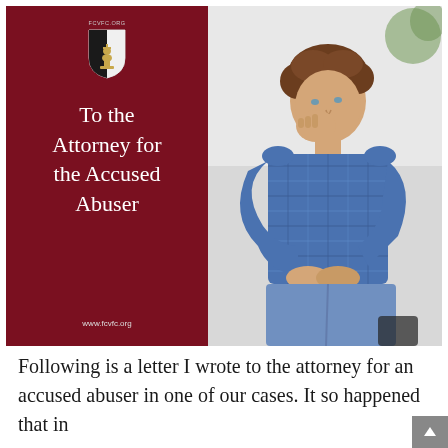[Figure (illustration): Composite image: left half is a dark red panel with FCVFC.org logo (chess piece on shield), bold white serif text reading 'To the Attorney for the Accused Abuser', and URL www.fcvfc.org at the bottom. Right half is a photograph of a teenage boy in a blue plaid shirt sitting hunched with his hand on his chin, looking distressed.]
Following is a letter I wrote to the attorney for an accused abuser in one of our cases. It so happened that in